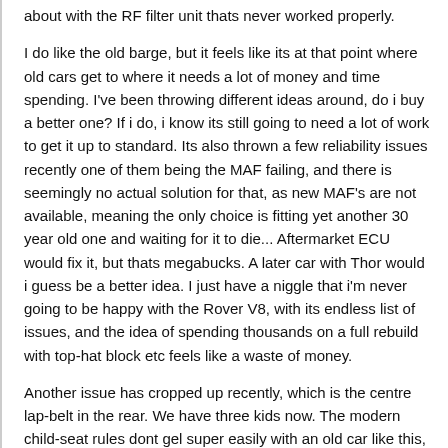about with the RF filter unit thats never worked properly.
I do like the old barge, but it feels like its at that point where old cars get to where it needs a lot of money and time spending. I've been throwing different ideas around, do i buy a better one? If i do, i know its still going to need a lot of work to get it up to standard. Its also thrown a few reliability issues recently one of them being the MAF failing, and there is seemingly no actual solution for that, as new MAF's are not available, meaning the only choice is fitting yet another 30 year old one and waiting for it to die... Aftermarket ECU would fix it, but thats megabucks. A later car with Thor would i guess be a better idea. I just have a niggle that i'm never going to be happy with the Rover V8, with its endless list of issues, and the idea of spending thousands on a full rebuild with top-hat block etc feels like a waste of money.
Another issue has cropped up recently, which is the centre lap-belt in the rear. We have three kids now. The modern child-seat rules dont gel super easily with an old car like this, we do have a seat that fits in with the lap belt, but its basically the one-and-only and the middle child has about outgrown it, but the smallest isnt really big enough yet to move from the rear facing seat into the one fitted with the lap belt.
With all of that in mind, it makes me re-review where we're at in terms of...